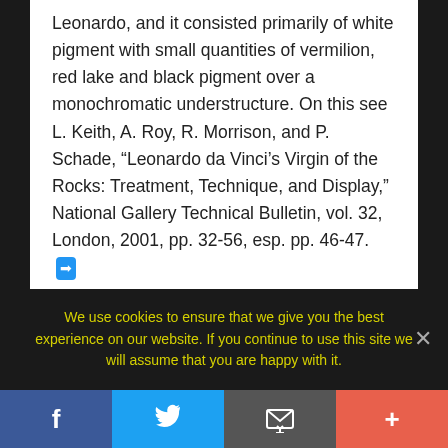Leonardo, and it consisted primarily of white pigment with small quantities of vermilion, red lake and black pigment over a monochromatic understructure. On this see L. Keith, A. Roy, R. Morrison, and P. Schade, “Leonardo da Vinci’s Virgin of the Rocks: Treatment, Technique, and Display,” National Gallery Technical Bulletin, vol. 32, London, 2001, pp. 32-56, esp. pp. 46-47.
Share this:
Reddit
We use cookies to ensure that we give you the best experience on our website. If you continue to use this site we will assume that you are happy with it.